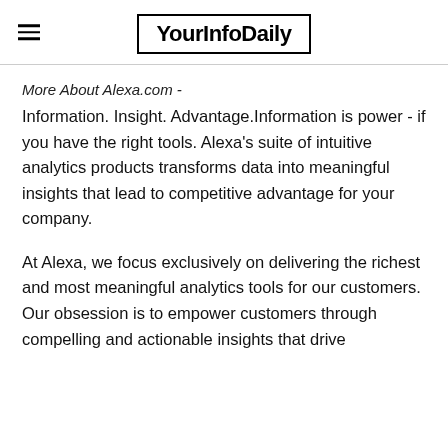YourInfoDaily
More About Alexa.com -
Information. Insight. Advantage.Information is power - if you have the right tools. Alexa's suite of intuitive analytics products transforms data into meaningful insights that lead to competitive advantage for your company.
At Alexa, we focus exclusively on delivering the richest and most meaningful analytics tools for our customers. Our obsession is to empower customers through compelling and actionable insights that drive